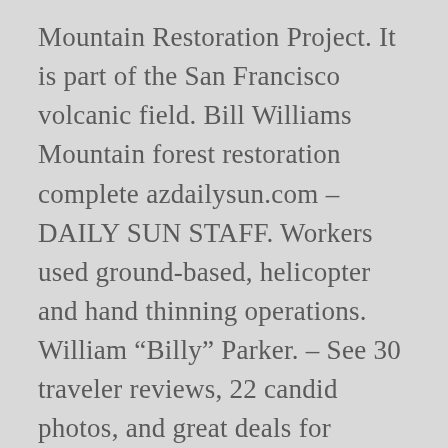Mountain Restoration Project. It is part of the San Francisco volcanic field. Bill Williams Mountain forest restoration complete azdailysun.com – DAILY SUN STAFF. Workers used ground-based, helicopter and hand thinning operations. William “Billy” Parker. – See 30 traveler reviews, 22 candid photos, and great deals for Williams, AZ, at Tripadvisor. Bill Williams Mountain tag sponsored by: Top 25+ "Bill Williams Mountain" products on Amazon Contractor completes first phase of forest restoration on Bill Williams Mountain More Accounts and Images; Integrated Taxonomic Information System (AGPA) Wildlife. Lookout Mountain can be accessed